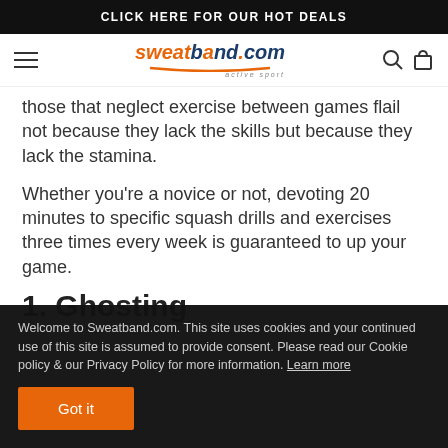CLICK HERE FOR OUR HOT DEALS
[Figure (logo): Sweatband.com active sport logo with hamburger menu and search/cart icons]
those that neglect exercise between games flail not because they lack the skills but because they lack the stamina.
Whether you’re a novice or not, devoting 20 minutes to specific squash drills and exercises three times every week is guaranteed to up your game.
1. Ghosting
Welcome to Sweatband.com. This site uses cookies and your continued use of this site is assumed to provide consent. Please read our Cookie policy & our Privacy Policy for more information. Learn more
Got it